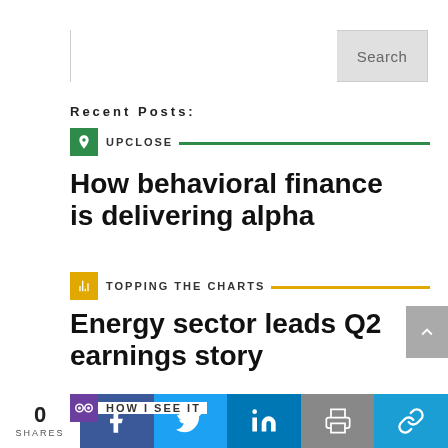Search
Recent Posts:
UPCLOSE
How behavioral finance is delivering alpha
TOPPING THE CHARTS
Energy sector leads Q2 earnings story
HOW I SEE IT
0 SHARES